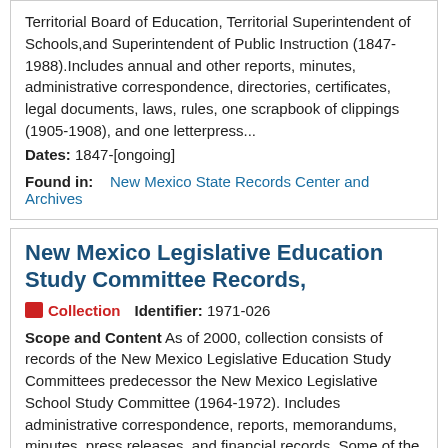Territorial Board of Education, Territorial Superintendent of Schools,and Superintendent of Public Instruction (1847-1988).Includes annual and other reports, minutes, administrative correspondence, directories, certificates, legal documents, laws, rules, one scrapbook of clippings (1905-1908), and one letterpress...
Dates: 1847-[ongoing]
Found in:   New Mexico State Records Center and Archives
New Mexico Legislative Education Study Committee Records,
Collection   Identifier: 1971-026
Scope and Content As of 2000, collection consists of records of the New Mexico Legislative Education Study Committees predecessor the New Mexico Legislative School Study Committee (1964-1972). Includes administrative correspondence, reports, memorandums, minutes, press releases, and financial records. Some of the major topics covered by